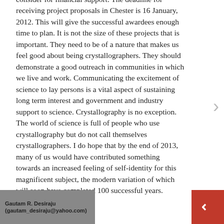consider for financial support. The deadline for receiving project proposals in Chester is 16 January, 2012. This will give the successful awardees enough time to plan. It is not the size of these projects that is important. They need to be of a nature that makes us feel good about being crystallographers. They should demonstrate a good outreach in communities in which we live and work. Communicating the excitement of science to lay persons is a vital aspect of sustaining long term interest and government and industry support to science. Crystallography is no exception. The world of science is full of people who use crystallography but do not call themselves crystallographers. I do hope that by the end of 2013, many of us would have contributed something towards an increased feeling of self-identity for this magnificent subject, the modern variation of which will soon have completed 100 successful years.
Gautam R. Desiraju (gautam_desiraju@yahoo.com)